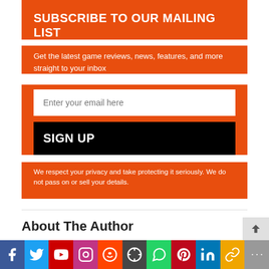SUBSCRIBE TO OUR MAILING LIST
Get the latest game reviews, news, features, and more straight to your inbox
Enter your email here
SIGN UP
We respect your privacy and take protecting it seriously. We do not pass on or sell your details.
About The Author
Liam Pritchard
[Figure (infographic): Social media sharing bar with icons: Facebook, Twitter, YouTube, Instagram, Reddit, WordPress, WhatsApp, Pinterest, LinkedIn, chain link, more]